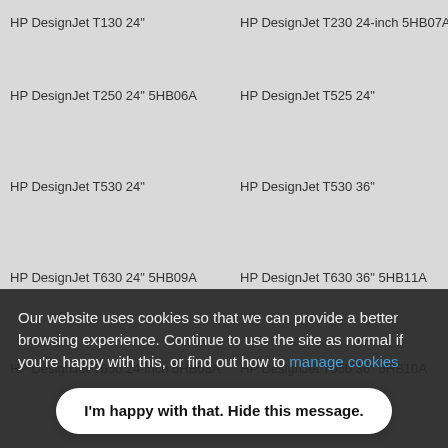HP DesignJet T130 24"
HP DesignJet T230 24-inch 5HB07A
HP Ink
HP Printheads
HP DesignJet T250 24" 5HB06A
HP DesignJet T525 24"
HP Paper
Accessories & Bundle Deals
HP DesignJet T530 24"
HP DesignJet T530 36"
HP Designjet Service & Repairs
HP Designjet Support
HP DesignJet T630 24" 5HB09A
HP DesignJet T630 36" 5HB11A
HP Designjet Drivers
HP Designjet Error Codes
HP DesignJet T650 24-inch 5HB08A
HP DesignJet T650 36" 5HB10A
HP Designjet Manuals
HP Designjet Memory Upgrades
HP DesignJet Studio 24" Steel 5HB12C
HP DesignJet Studio 24-in Wood-Effect 5HB12A
HP Workstations
Designjet Purchase Tips
HP DesignJet Studio 36" Steel 5HB14C
HP DesignJet Studio 36" Wood Effect 5HB14A
Designjet Security
What is a plotter?
World of HP
Designjet Podcasts
Our website uses cookies so that we can provide a better browsing experience. Continue to use the site as normal if you're happy with this, or find out how to manage cookies
I'm happy with that. Hide this message.